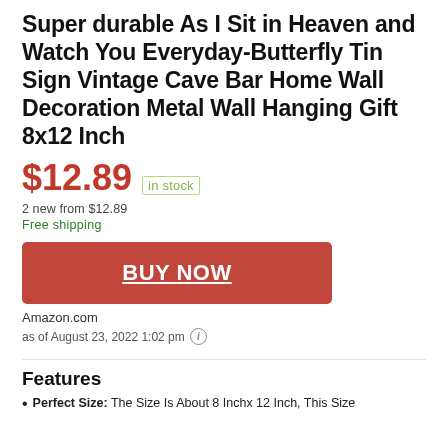Super durable As I Sit in Heaven and Watch You Everyday-Butterfly Tin Sign Vintage Cave Bar Home Wall Decoration Metal Wall Hanging Gift 8x12 Inch
$12.89  in stock
2 new from $12.89
Free shipping
[Figure (other): Red BUY NOW button]
Amazon.com
as of August 23, 2022 1:02 pm
Features
Perfect Size: The Size Is About 8 Inchx 12 Inch, This Size